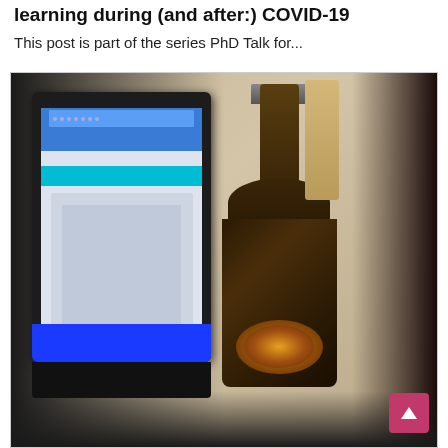learning during (and after:) COVID-19
This post is part of the series PhD Talk for...
[Figure (photo): Photo of a laptop/tablet with a web page open, next to a dark beer bottle with a circular label, on a desk surface]